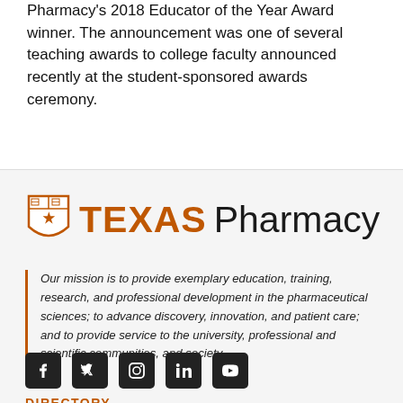Pharmacy's 2018 Educator of the Year Award winner. The announcement was one of several teaching awards to college faculty announced recently at the student-sponsored awards ceremony.
[Figure (logo): University of Texas Pharmacy logo with shield and text 'TEXAS Pharmacy']
Our mission is to provide exemplary education, training, research, and professional development in the pharmaceutical sciences; to advance discovery, innovation, and patient care; and to provide service to the university, professional and scientific communities, and society.
[Figure (infographic): Social media icons: Facebook, Twitter, Instagram, LinkedIn, YouTube]
DIRECTORY